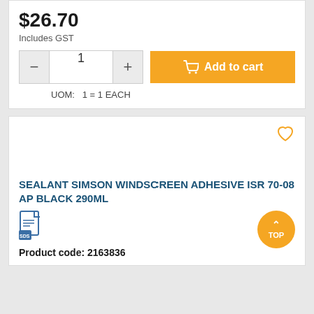$26.70
Includes GST
UOM:  1 = 1 EACH
[Figure (screenshot): Product listing card for SEALANT SIMSON WINDSCREEN ADHESIVE ISR 70-08 AP BLACK 290ML with heart/wishlist icon, SDS document icon, product code 2163836, and orange TOP scroll-to-top button]
SEALANT SIMSON WINDSCREEN ADHESIVE ISR 70-08 AP BLACK 290ML
Product code: 2163836